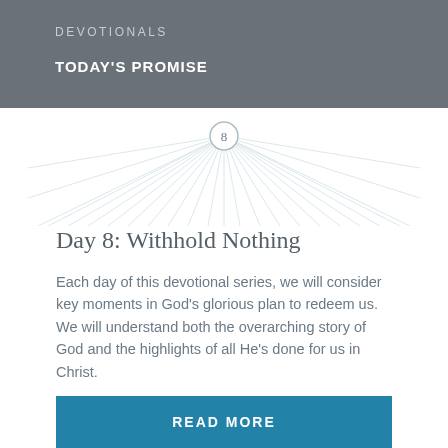DEVOTIONALS
TODAY'S PROMISE
[Figure (illustration): Sunburst/rays of light radiating outward from center, light blue-grey color, with a circled number 8 at the top center]
Day 8: Withhold Nothing
Each day of this devotional series, we will consider key moments in God’s glorious plan to redeem us. We will understand both the overarching story of God and the highlights of all He’s done for us in Christ.
READ MORE